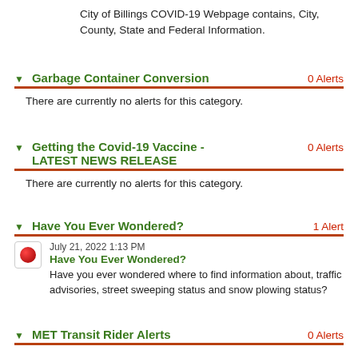City of Billings COVID-19 Webpage contains, City, County, State and Federal Information.
▼ Garbage Container Conversion   0 Alerts
There are currently no alerts for this category.
▼ Getting the Covid-19 Vaccine - LATEST NEWS RELEASE   0 Alerts
There are currently no alerts for this category.
▼ Have You Ever Wondered?   1 Alert
July 21, 2022 1:13 PM
Have You Ever Wondered?
Have you ever wondered where to find information about, traffic advisories, street sweeping status and snow plowing status?
▼ MET Transit Rider Alerts   0 Alerts